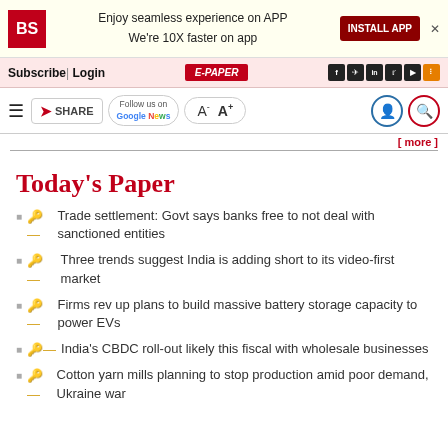BS logo | Enjoy seamless experience on APP We're 10X faster on app | INSTALL APP
Subscribe | Login | E-PAPER
Follow us on Google News | A- A+
[ more ]
Today's Paper
Trade settlement: Govt says banks free to not deal with sanctioned entities
Three trends suggest India is adding short to its video-first market
Firms rev up plans to build massive battery storage capacity to power EVs
India's CBDC roll-out likely this fiscal with wholesale businesses
Cotton yarn mills planning to stop production amid poor demand, Ukraine war